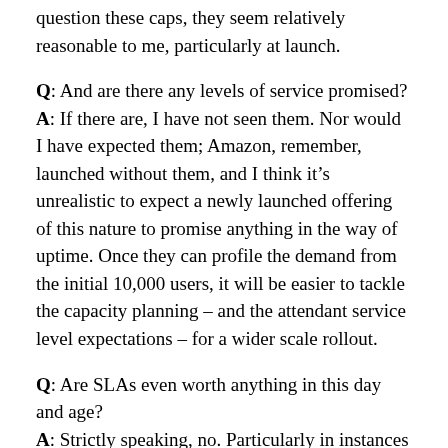question these caps, they seem relatively reasonable to me, particularly at launch.
Q: And are there any levels of service promised?
A: If there are, I have not seen them. Nor would I have expected them; Amazon, remember, launched without them, and I think it's unrealistic to expect a newly launched offering of this nature to promise anything in the way of uptime. Once they can profile the demand from the initial 10,000 users, it will be easier to tackle the capacity planning – and the attendant service level expectations – for a wider scale rollout.
Q: Are SLAs even worth anything in this day and age?
A: Strictly speaking, no. Particularly in instances such as this, where the service is offered at no cost. That said, SLAs do speak